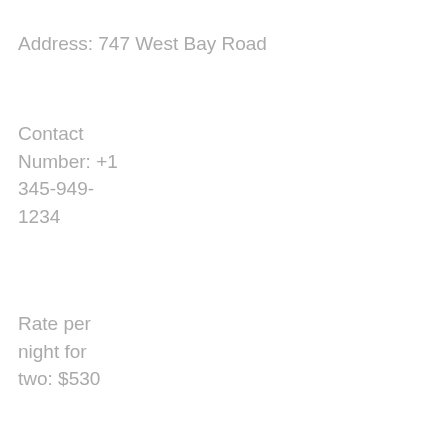Address: 747 West Bay Road
Contact Number: +1 345-949-1234
Rate per night for two: $530